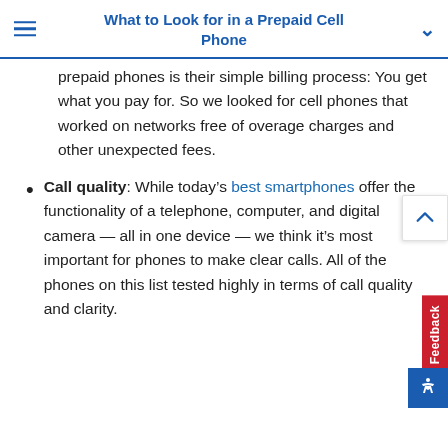What to Look for in a Prepaid Cell Phone
prepaid phones is their simple billing process: You get what you pay for. So we looked for cell phones that worked on networks free of overage charges and other unexpected fees.
Call quality: While today's best smartphones offer the functionality of a telephone, computer, and digital camera — all in one device — we think it's most important for phones to make clear calls. All of the phones on this list tested highly in terms of call quality and clarity.